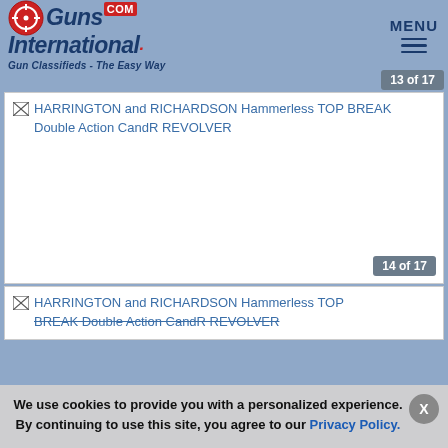GunsInternational.com - Gun Classifieds - The Easy Way | MENU
13 of 17
[Figure (screenshot): Broken image placeholder for HARRINGTON and RICHARDSON Hammerless TOP BREAK Double Action CandR REVOLVER, image 13 of 17]
14 of 17
[Figure (screenshot): Broken image placeholder for HARRINGTON and RICHARDSON Hammerless TOP BREAK Double Action CandR REVOLVER, image 14 of 17]
We use cookies to provide you with a personalized experience. By continuing to use this site, you agree to our Privacy Policy.